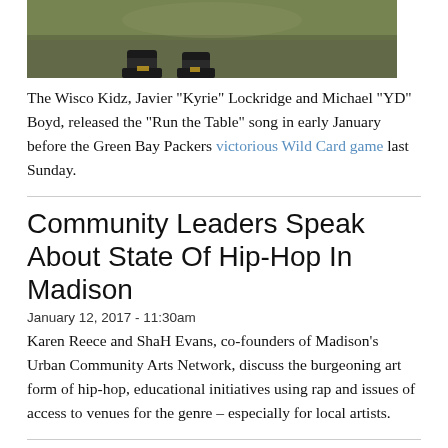[Figure (photo): Sports photo showing player legs/cleats on a field, cropped at top]
The Wisco Kidz, Javier "Kyrie" Lockridge and Michael "YD" Boyd, released the "Run the Table" song in early January before the Green Bay Packers victorious Wild Card game last Sunday.
Community Leaders Speak About State Of Hip-Hop In Madison
January 12, 2017 - 11:30am
Karen Reece and ShaH Evans, co-founders of Madison's Urban Community Arts Network, discuss the burgeoning art form of hip-hop, educational initiatives using rap and issues of access to venues for the genre – especially for local artists.
Soundbytes: Top Albums Of 2016
December 31, 2016 - 3:15pm
[Figure (photo): Strip of three music-related photos showing artists]